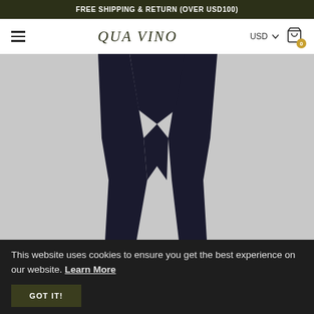FREE SHIPPING & RETURN (OVER USD100)
[Figure (logo): QUA VINO brand logo with hamburger menu, USD currency selector, and shopping cart with badge showing 0]
[Figure (photo): Close-up product photo of a person wearing black leggings/tights against a light gray background, showing lower torso and legs]
This website uses cookies to ensure you get the best experience on our website. Learn More
GOT IT!